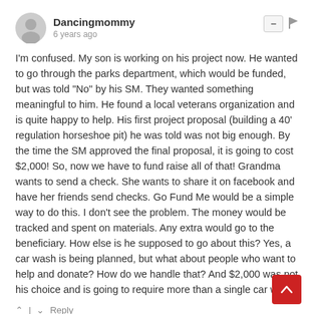Dancingmommy · 6 years ago
I'm confused. My son is working on his project now. He wanted to go through the parks department, which would be funded, but was told "No" by his SM. They wanted something meaningful to him. He found a local veterans organization and is quite happy to help. His first project proposal (building a 40' regulation horseshoe pit) he was told was not big enough. By the time the SM approved the final proposal, it is going to cost $2,000! So, now we have to fund raise all of that! Grandma wants to send a check. She wants to share it on facebook and have her friends send checks. Go Fund Me would be a simple way to do this. I don't see the problem. The money would be tracked and spent on materials. Any extra would go to the beneficiary. How else is he supposed to go about this? Yes, a car wash is being planned, but what about people who want to help and donate? How do we handle that? And $2,000 was not his choice and is going to require more than a single car wash.
Reply